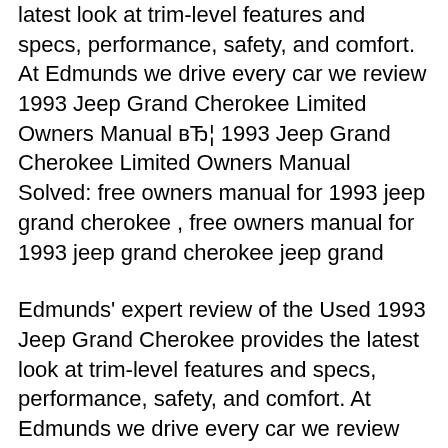latest look at trim-level features and specs, performance, safety, and comfort. At Edmunds we drive every car we review 1993 Jeep Grand Cherokee Limited Owners Manual вЂ¦ 1993 Jeep Grand Cherokee Limited Owners Manual Solved: free owners manual for 1993 jeep grand cherokee , free owners manual for 1993 jeep grand cherokee jeep grand
Edmunds' expert review of the Used 1993 Jeep Grand Cherokee provides the latest look at trim-level features and specs, performance, safety, and comfort. At Edmunds we drive every car we review 30/03/2017В В· The Jeep Grand Cherokee was strong competition